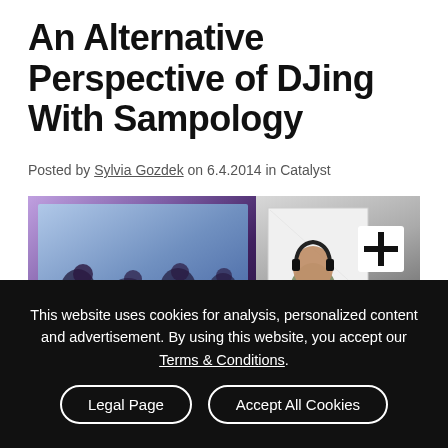An Alternative Perspective of DJing With Sampology
Posted by Sylvia Gozdek on 6.4.2014 in Catalyst
[Figure (photo): A person DJing at a setup with headphones, in front of a projected screen showing people sitting on stage, with a laptop stand and white board visible in the background]
This website uses cookies for analysis, personalized content and advertisement. By using this website, you accept our Terms & Conditions.
Legal Page | Accept All Cookies